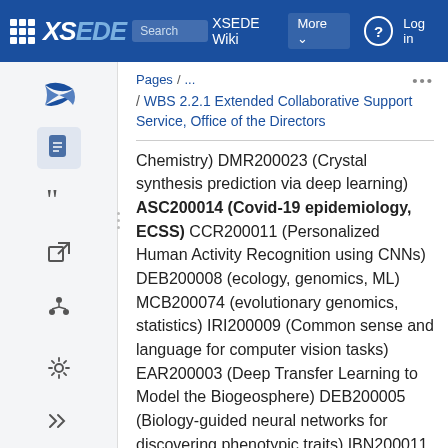XSEDE Wiki | Search XSEDE Wiki | More | Log in
Pages / ... / WBS 2.2.1 Extended Collaborative Support Service, Office of the Directors
Chemistry) DMR200023 (Crystal synthesis prediction via deep learning) ASC200014 (Covid-19 epidemiology, ECSS) CCR200011 (Personalized Human Activity Recognition using CNNs) DEB200008 (ecology, genomics, ML) MCB200074 (evolutionary genomics, statistics) IRI200009 (Common sense and language for computer vision tasks) EAR200003 (Deep Transfer Learning to Model the Biogeosphere) DEB200005 (Biology-guided neural networks for discovering phenotypic traits) IBN200011 (Deep learning for real-time cognitive state classification using EEG, fNIRS and BSN data) OCE200008 (ocean science, data visualization, oral